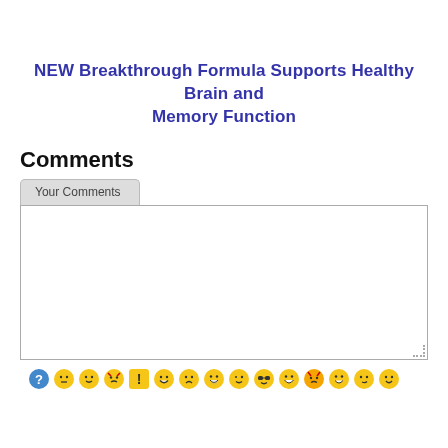NEW Breakthrough Formula Supports Healthy Brain and Memory Function
Comments
[Figure (screenshot): A web form comment box with a 'Your Comments' tab and an empty textarea input area, followed by a row of emoji/smiley face icons at the bottom.]